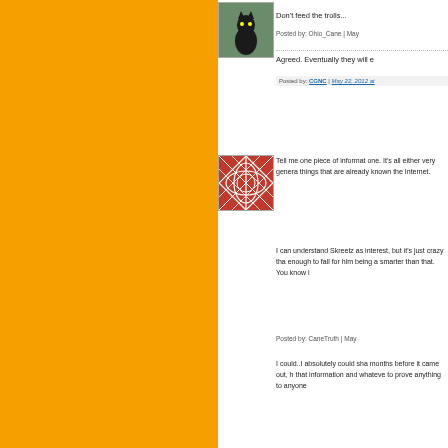[Figure (photo): Avatar image of a figurine/statue character with black cat-like features, against a green/grey background]
Don't feed the trolls...
Posted by: Ohio_Cane | May
Agreed. Eventually they will e
Posted by: CGNC | May 22, 2012 at
[Figure (photo): Avatar image with red and white geometric/floral pattern on dark background]
Tell me one piece of informat one. It's all either very genera things that are already known the Internet.
I can understand Skreetz as interest, but it's just crazy tha enough to fall for him being a smarter than that. You know i
Posted by: CaneTruth | May
I could..I absolutely could sha months before it came out, h that information and whateve to prove anything to anyone